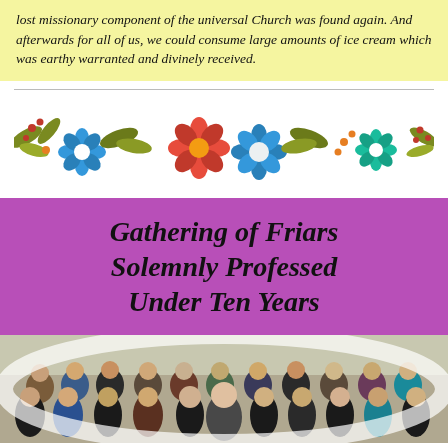lost missionary component of the universal Church was found again. And afterwards for all of us, we could consume large amounts of ice cream which was earthy warranted and divinely received.
[Figure (illustration): Decorative floral divider with blue, orange, and teal flowers with green and olive leaves and red berries on a white background.]
Gathering of Friars Solemnly Professed Under Ten Years
[Figure (photo): Group photo of approximately 25 friars and men posing together indoors, some in brown habits, others in casual clothes.]